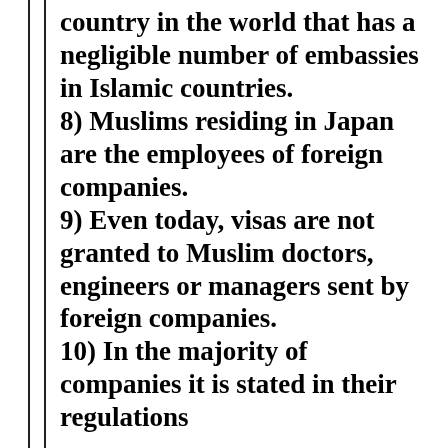country in the world that has a negligible number of embassies in Islamic countries.
8) Muslims residing in Japan are the employees of foreign companies.
9) Even today, visas are not granted to Muslim doctors, engineers or managers sent by foreign companies.
10) In the majority of companies it is stated in their regulations